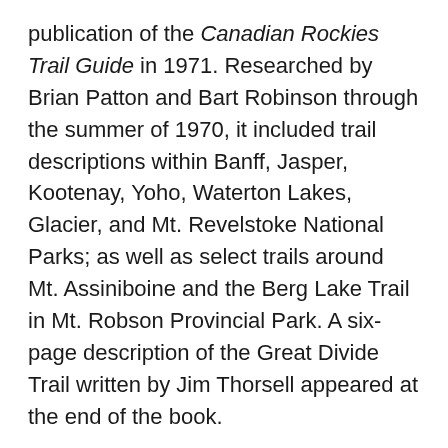publication of the Canadian Rockies Trail Guide in 1971. Researched by Brian Patton and Bart Robinson through the summer of 1970, it included trail descriptions within Banff, Jasper, Kootenay, Yoho, Waterton Lakes, Glacier, and Mt. Revelstoke National Parks; as well as select trails around Mt. Assiniboine and the Berg Lake Trail in Mt. Robson Provincial Park. A six-page description of the Great Divide Trail written by Jim Thorsell appeared at the end of the book.
After an initial print run of 5,000 sold out in the summer of 1971, the 1st edition was reprinted four times and sold a total of 37,324 copies.
Cover: The black and white cover photo taken by Brian Patton depicts Louise Mayer on